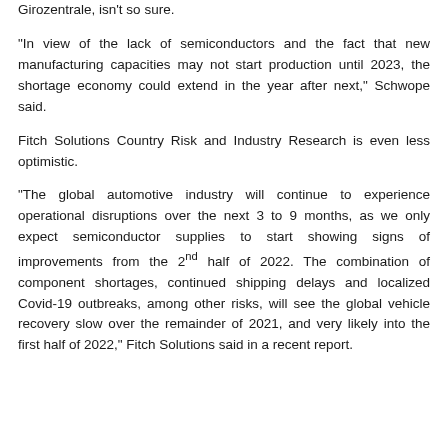Girozentrale, isn't so sure.
“In view of the lack of semiconductors and the fact that new manufacturing capacities may not start production until 2023, the shortage economy could extend in the year after next,” Schwope said.
Fitch Solutions Country Risk and Industry Research is even less optimistic.
“The global automotive industry will continue to experience operational disruptions over the next 3 to 9 months, as we only expect semiconductor supplies to start showing signs of improvements from the 2nd half of 2022. The combination of component shortages, continued shipping delays and localized Covid-19 outbreaks, among other risks, will see the global vehicle recovery slow over the remainder of 2021, and very likely into the first half of 2022,” Fitch Solutions said in a recent report.